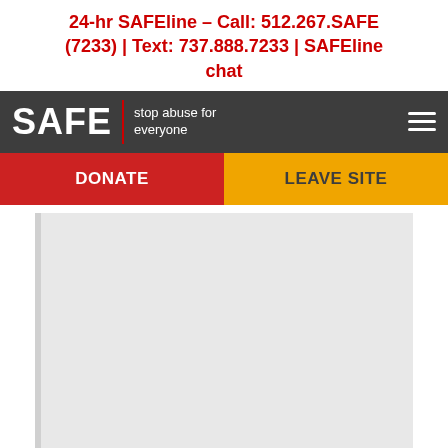24-hr SAFEline – Call: 512.267.SAFE (7233)  |  Text: 737.888.7233  |  SAFEline chat
[Figure (screenshot): SAFE (stop abuse for everyone) website navigation bar with dark gray background, red vertical divider, white logo text, and hamburger menu icon]
[Figure (screenshot): Action bar with red DONATE button on the left and yellow/orange LEAVE SITE button on the right]
[Figure (screenshot): White and light gray content area below the navigation]